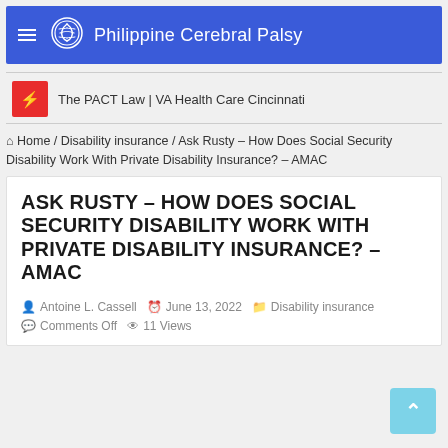Philippine Cerebral Palsy
The PACT Law | VA Health Care Cincinnati
Home / Disability insurance / Ask Rusty – How Does Social Security Disability Work With Private Disability Insurance? – AMAC
ASK RUSTY – HOW DOES SOCIAL SECURITY DISABILITY WORK WITH PRIVATE DISABILITY INSURANCE? – AMAC
Antoine L. Cassell   June 13, 2022   Disability insurance   Comments Off   11 Views